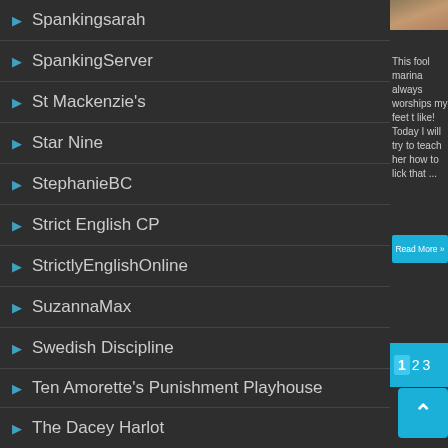SpankingSarah
SpankingServer
St Mackenzie's
Star Nine
StephanieBC
Strict English CP
StrictlyEnglishOnline
SuzannaMax
Swedish Discipline
Ten Amorette's Punishment Playhouse
The Dacey Harlot
The English Governess
Thelazymaid
TripleProductions
This fool marina always worships my feet t like! Today I will try to teach her how to lick that ...
Read More »
1  2  3  4  5  »  10  20  3